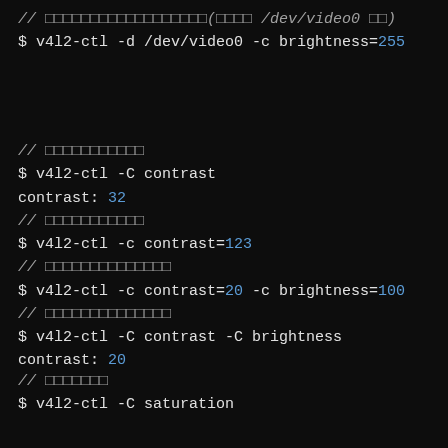// 明るさを変更する(例えば /dev/video0 の場合)
$ v4l2-ctl -d /dev/video0 -c brightness=255
// コントラストを取得する
$ v4l2-ctl -C contrast
contrast: 32
// コントラストを設定する
$ v4l2-ctl -c contrast=123
// 複数のパラメータを設定する
$ v4l2-ctl -c contrast=20 -c brightness=100
// 複数のパラメータを取得する
$ v4l2-ctl -C contrast -C brightness
contrast: 20
brightness: 100
// 彩度を取得
$ v4l2-ctl -C saturation